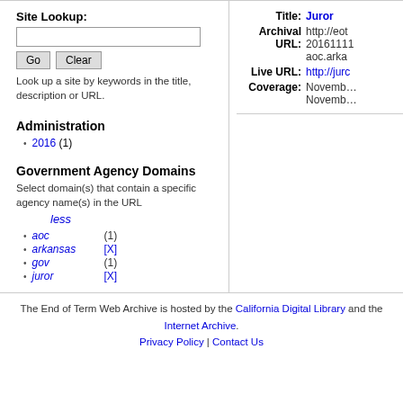Site Lookup:
Look up a site by keywords in the title, description or URL.
Administration
2016 (1)
Government Agency Domains
Select domain(s) that contain a specific agency name(s) in the URL
aoc   (1)
arkansas   [X]
gov   (1)
juror   [X]
Title: Juror
Archival URL: http://eot 20161111 aoc.arka
Live URL: http://jurc
Coverage: November, November
The End of Term Web Archive is hosted by the California Digital Library and the Internet Archive. Privacy Policy | Contact Us